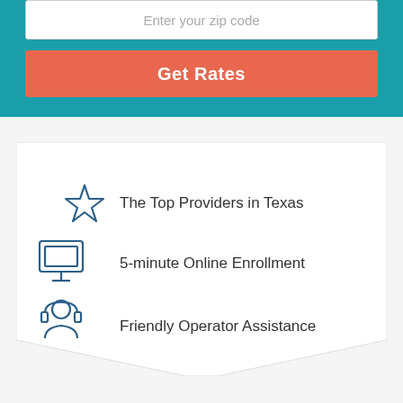Enter your zip code
Get Rates
The Top Providers in Texas
5-minute Online Enrollment
Friendly Operator Assistance